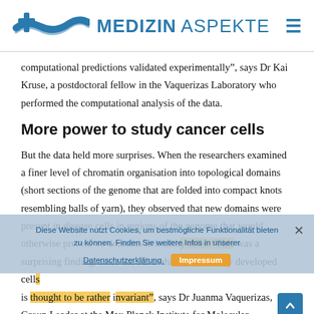MEDIZIN ASPEKTE
computational predictions validated experimentally", says Dr Kai Kruse, a postdoctoral fellow in the Vaquerizas Laboratory who performed the computational analysis of the data.
More power to study cancer cells
But the data held more surprises. When the researchers examined a finer level of chromatin organisation into topological domains (short sections of the genome that are folded into compact knots resembling balls of yarn), they observed that new domains were present in disease cells in regions of the genome that would otherwise present no domains in healthy cells. “This was a surprising finding, since the 3D architecture of fully developed cells is thought to be rather invariant”, says Dr Juanma Vaquerizas, Group Leader at the Max Planck Institute for Molecular